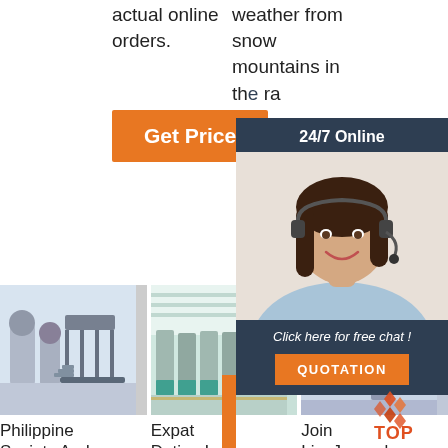actual online orders.
weather from snow mountains in th... ra...
Get Price
[Figure (infographic): 24/7 online chat popup with female agent wearing headset, dark blue background, 'Click here for free chat!' text and orange QUOTATION button]
[Figure (photo): Industrial machinery / oil processing equipment in a workshop]
[Figure (photo): Industrial milling or processing plant interior with machines in rows]
[Figure (photo): Industrial milling equipment, partially obscured by chat popup overlay]
Philippine Society And
Expat Dating In
Join LiveJournal